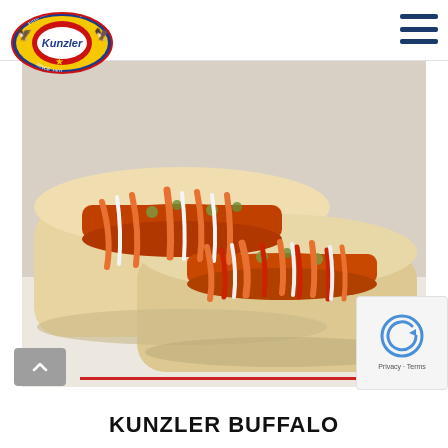[Figure (logo): Kunzler Fine Meat Products Since 1901 logo — red, blue, yellow circular emblem with two birds and a star, 'Kunzler' text in center]
[Figure (photo): Two buffalo-style hot dogs in buns on a white plate, topped with orange buffalo sauce drizzle, white sauce drizzle, and green relish/celery pieces]
KUNZLER BUFFALO